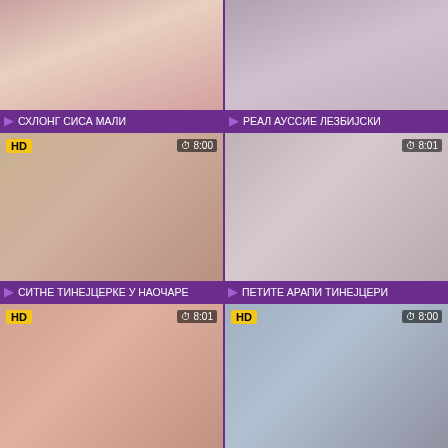[Figure (photo): Video thumbnail grid item 1 - top left partial]
▶ СХЛОНГ СИСА МАЛИ
[Figure (photo): Video thumbnail grid item 2 - top right partial]
▶ РЕАЛ АУССИЕ ЛЕЗБИЈСКИ
[Figure (photo): Video thumbnail - СИТНЕ ТИНЕЈЦЕРКЕ У НАОЧАРЕ, HD badge, 8:00]
▶ СИТНЕ ТИНЕЈЦЕРКЕ У НАОЧАРЕ
[Figure (photo): Video thumbnail - ПЕТИТЕ АРАПИ ТИНЕЈЦЕРИ, 8:01]
▶ ПЕТИТЕ АРАПИ ТИНЕЈЦЕРИ
[Figure (photo): Video thumbnail - АЗИЈСКИ БРИНЕТА АМИ ПАРКС, HD badge, 8:01]
▶ АЗИЈСКИ БРИНЕТА АМИ ПАРКС
[Figure (photo): Video thumbnail - СУНЧАНЕ НАОЧАРЕ ПЛАВУШЕ, HD badge, 8:00]
▶ СУНЧАНЕ НАОЧАРЕ ПЛАВУШЕ